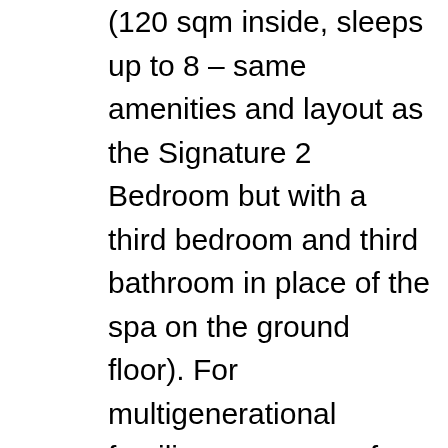(120 sqm inside, sleeps up to 8 – same amenities and layout as the Signature 2 Bedroom but with a third bedroom and third bathroom in place of the spa on the ground floor). For multigenerational families or groups of families traveling together, the hotel offers an enormous Mykonos Riviera 8 Bedroom Villa with 13-bathrooms, 3 pools, a gourmet kitchen (private chef available), optional butler service, several indoor and outdoor living areas, indoor and outdoor dining areas, 2 private elevators (1 inside and 1 outside connecting the villa to the hotel's amenities.